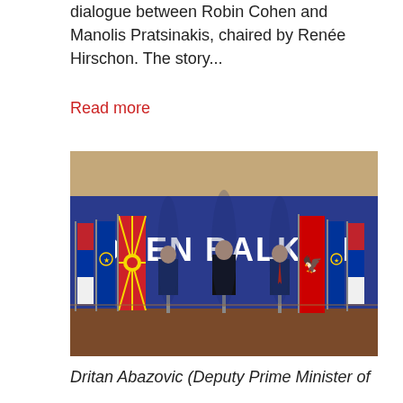dialogue between Robin Cohen and Manolis Pratsinakis, chaired by Renée Hirschon. The story...
Read more
[Figure (photo): Three officials standing at podiums in front of a large blue banner reading 'OPEN BALKAN', with national flags of Serbia, North Macedonia, EU, Albania, and other Balkan countries visible on either side.]
Dritan Abazovic (Deputy Prime Minister of